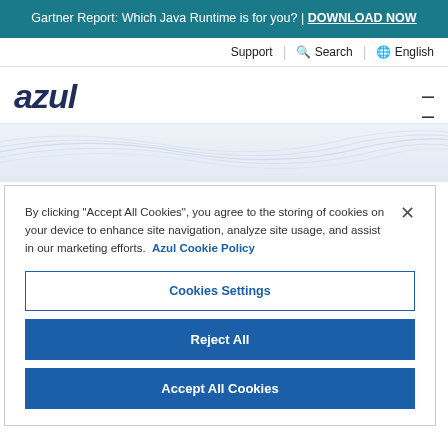Gartner Report: Which Java Runtime is for you? | DOWNLOAD NOW
Support | Search | English
[Figure (logo): Azul logo in dark navy italic bold text]
By clicking “Accept All Cookies”, you agree to the storing of cookies on your device to enhance site navigation, analyze site usage, and assist in our marketing efforts. Azul Cookie Policy
Cookies Settings
Reject All
Accept All Cookies